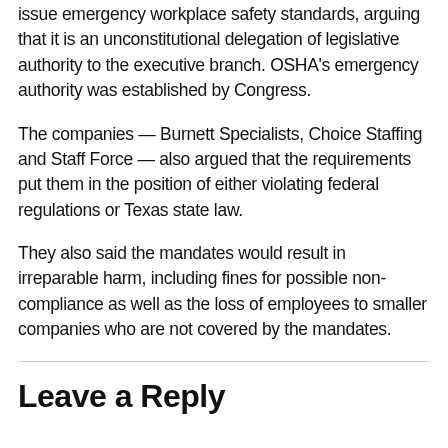issue emergency workplace safety standards, arguing that it is an unconstitutional delegation of legislative authority to the executive branch. OSHA's emergency authority was established by Congress.
The companies — Burnett Specialists, Choice Staffing and Staff Force — also argued that the requirements put them in the position of either violating federal regulations or Texas state law.
They also said the mandates would result in irreparable harm, including fines for possible non-compliance as well as the loss of employees to smaller companies who are not covered by the mandates.
Leave a Reply